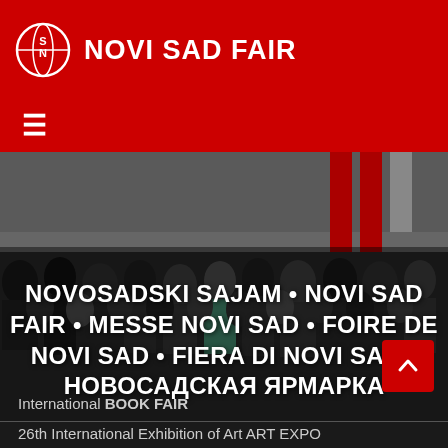NOVI SAD FAIR
[Figure (photo): Crowd of people gathered outside a building at the Novi Sad Fair, with red promotional banners visible in the background]
NOVOSADSKI SAJAM • NOVI SAD FAIR • MESSE NOVI SAD • FOIRE DE NOVI SAD • FIERA DI NOVI SAD • НОВОСАДСКАЯ ЯРМАРКА
International BOOK FAIR
26th International Exhibition of Art ART EXPO